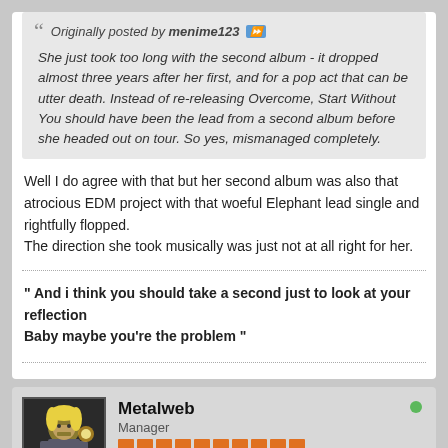Originally posted by menime123
She just took too long with the second album - it dropped almost three years after her first, and for a pop act that can be utter death. Instead of re-releasing Overcome, Start Without You should have been the lead from a second album before she headed out on tour. So yes, mismanaged completely.
Well I do agree with that but her second album was also that atrocious EDM project with that woeful Elephant lead single and rightfully flopped.
The direction she took musically was just not at all right for her.
" And i think you should take a second just to look at your reflection
Baby maybe you're the problem "
Metalweb
Manager
Join Date: 01 Jan 2020    Posts: 3995